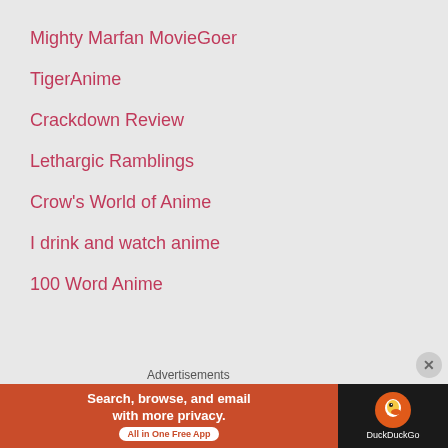Mighty Marfan MovieGoer
TigerAnime
Crackdown Review
Lethargic Ramblings
Crow's World of Anime
I drink and watch anime
100 Word Anime
Advertisements
[Figure (screenshot): DuckDuckGo advertisement banner: Search, browse, and email with more privacy. All in One Free App]